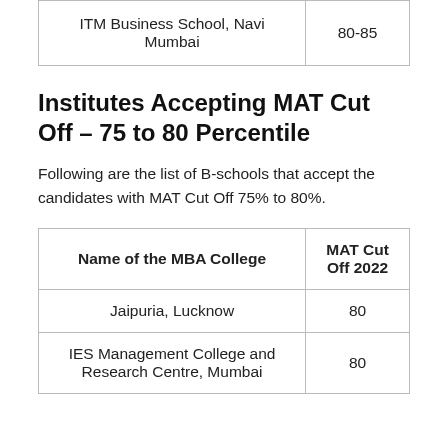| Name of the MBA College | MAT Cut Off 2022 |
| --- | --- |
| ITM Business School, Navi Mumbai | 80-85 |
Institutes Accepting MAT Cut Off – 75 to 80 Percentile
Following are the list of B-schools that accept the candidates with MAT Cut Off 75% to 80%.
| Name of the MBA College | MAT Cut Off 2022 |
| --- | --- |
| Jaipuria, Lucknow | 80 |
| IES Management College and Research Centre, Mumbai | 80 |